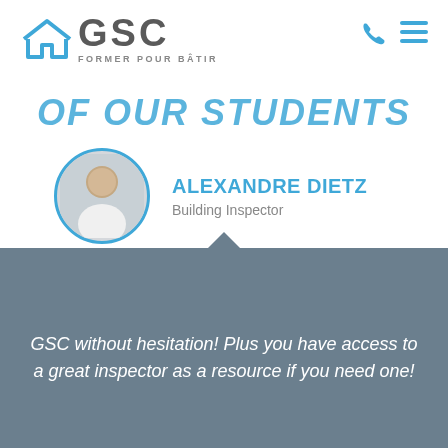[Figure (logo): GSC Former Pour Bâtir logo with house icon and GSC text]
[Figure (illustration): Phone and menu hamburger navigation icons in blue]
OF OUR STUDENTS
[Figure (photo): Circular profile photo of Alexandre Dietz, a young man in a white shirt with arms crossed]
ALEXANDRE DIETZ
Building Inspector
GSC without hesitation! Plus you have access to a great inspector as a resource if you need one!